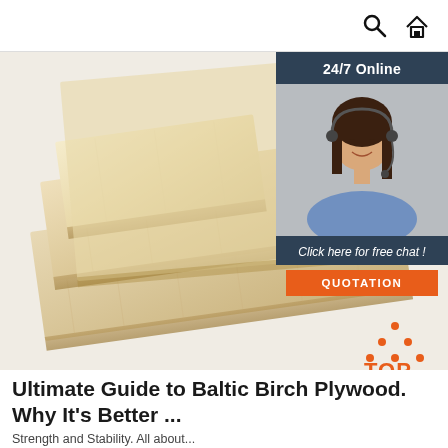Search and Home icons
[Figure (photo): Stack of Baltic birch plywood sheets of varying sizes arranged diagonally on a white/light gray background. The plywood shows light wood coloring with visible edge layers.]
[Figure (infographic): Advertisement widget with dark blue/slate background showing '24/7 Online' text, a photo of a smiling woman with a headset microphone, italic text 'Click here for free chat!', and an orange button labeled 'QUOTATION'.]
[Figure (logo): TOP logo: orange triangle shape made of dots with the word TOP in orange letters below.]
Ultimate Guide to Baltic Birch Plywood. Why It's Better ...
Strength and Stability. All about...